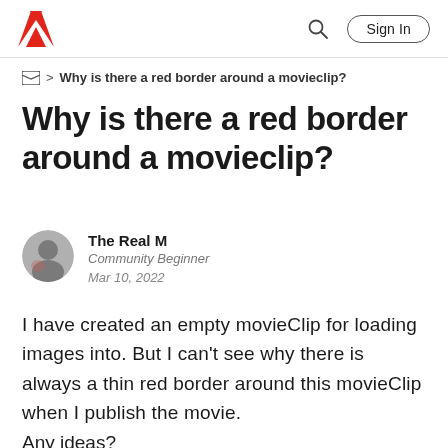Adobe logo | Search | Sign In
> Why is there a red border around a movieclip?
Why is there a red border around a movieclip?
The Real M
Community Beginner
Mar 10, 2022
I have created an empty movieClip for loading images into. But I can't see why there is always a thin red border around this movieClip when I publish the movie.
Any ideas?